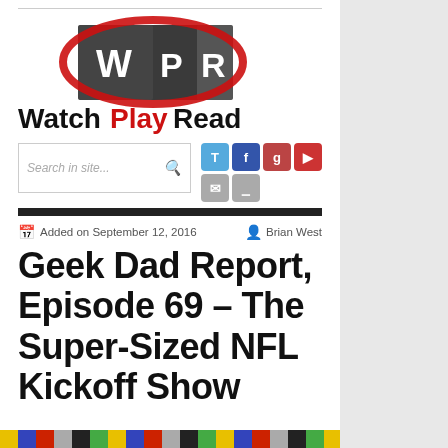[Figure (logo): WatchPlayRead logo with WPR emblem and red swoosh, text 'WatchPlayRead' in black and red]
Search in site...
[Figure (infographic): Social media icons: Twitter, Facebook, Google+, YouTube, Email, RSS]
Added on September 12, 2016  Brian West
Geek Dad Report, Episode 69 – The Super-Sized NFL Kickoff Show